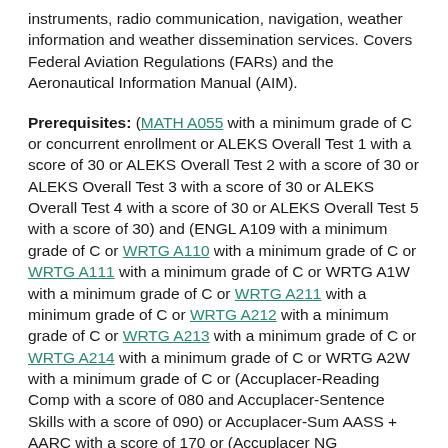instruments, radio communication, navigation, weather information and weather dissemination services. Covers Federal Aviation Regulations (FARs) and the Aeronautical Information Manual (AIM).
Prerequisites: (MATH A055 with a minimum grade of C or concurrent enrollment or ALEKS Overall Test 1 with a score of 30 or ALEKS Overall Test 2 with a score of 30 or ALEKS Overall Test 3 with a score of 30 or ALEKS Overall Test 4 with a score of 30 or ALEKS Overall Test 5 with a score of 30) and (ENGL A109 with a minimum grade of C or WRTG A110 with a minimum grade of C or WRTG A111 with a minimum grade of C or WRTG A1W with a minimum grade of C or WRTG A211 with a minimum grade of C or WRTG A212 with a minimum grade of C or WRTG A213 with a minimum grade of C or WRTG A214 with a minimum grade of C or WRTG A2W with a minimum grade of C or (Accuplacer-Reading Comp with a score of 080 and Accuplacer-Sentence Skills with a score of 090) or Accuplacer-Sum AASS + AARC with a score of 170 or (Accuplacer NG